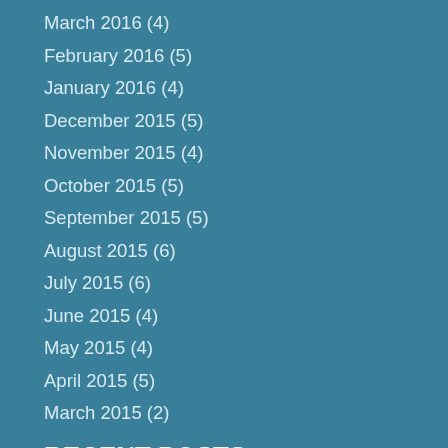March 2016 (4)
February 2016 (5)
January 2016 (4)
December 2015 (5)
November 2015 (4)
October 2015 (5)
September 2015 (5)
August 2015 (6)
July 2015 (6)
June 2015 (4)
May 2015 (4)
April 2015 (5)
March 2015 (2)
RECENT POSTS
What is the Automatic Stay?